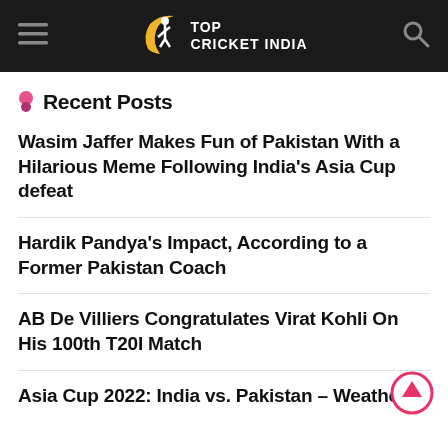TOP CRICKET INDIA
Recent Posts
Wasim Jaffer Makes Fun of Pakistan With a Hilarious Meme Following India's Asia Cup defeat
Hardik Pandya's Impact, According to a Former Pakistan Coach
AB De Villiers Congratulates Virat Kohli On His 100th T20I Match
Asia Cup 2022: India vs. Pakistan – Weather